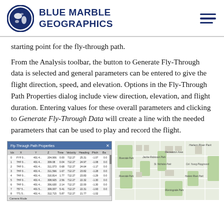BLUE MARBLE GEOGRAPHICS
starting point for the fly-through path.
From the Analysis toolbar, the button to Generate Fly-Through data is selected and general parameters can be entered to give the flight direction, speed, and elevation. Options in the Fly-Through Path Properties dialog include view direction, elevation, and flight duration. Entering values for these overall parameters and clicking to Generate Fly-Through Data will create a line with the needed parameters that can be used to play and record the flight.
[Figure (screenshot): Fly-Through Path Properties dialog showing a table with columns: Idx, X, Y, Z, Time, Velocity, Heading, Pitch, Ba. Rows of numerical data visible. Bottom shows Auto-Generate Fly-through Data and Camera Mode options.]
[Figure (map): Map showing a portion of New York City with labeled parks including Harlem River Park, Recreation Area, Jackie Robinson Park, Riverside Park, St. Nicholas Park, Col. Young Playground, Riverside Park, Harlem River Park, Morningside Park.]